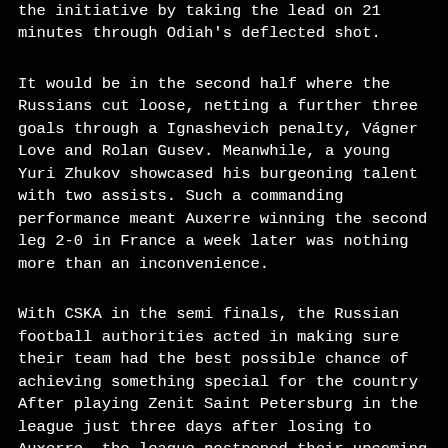the initiative by taking the lead on 21 minutes through Odiah's deflected shot.
It would be in the second half where the Russians cut loose, netting a further three goals through a Ignashevich penalty, Vágner Love and Rolan Gusev. Meanwhile, a young Yuri Zhukov showcased his burgeoning talent with two assists. Such a commanding performance meant Auxerre winning the second leg 2-0 in France a week later was nothing more than an inconvenience.
With CSKA in the semi finals, the Russian football authorities acted in making sure their team had the best possible chance of achieving something special for the country After playing Zenit Saint Petersburg in the league just three days after losing to Auxerre, the league postponed their upcoming games to make sure their next league game wouldn't be until May 22. The only domestic fixtures CSKA played during that period would come in the Russian Cup against Zenit, which they would lose 0-1 before winning the